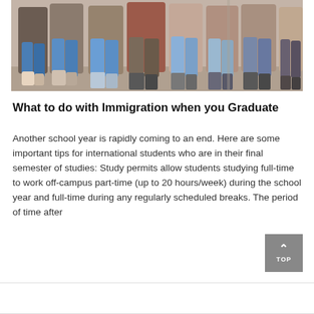[Figure (photo): Group of students standing against a wall, showing their lower bodies and legs, wearing casual clothing and jeans]
What to do with Immigration when you Graduate
Another school year is rapidly coming to an end. Here are some important tips for international students who are in their final semester of studies: Study permits allow students studying full-time to work off-campus part-time (up to 20 hours/week) during the school year and full-time during any regularly scheduled breaks. The period of time after